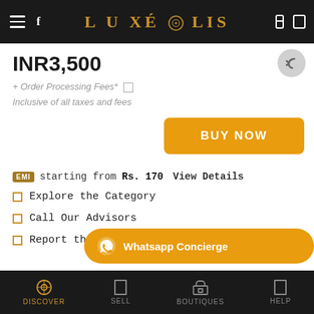LUXÉPOLIS
INR3,500
+ Order Processing Fees* ☐
Inclusive of all taxes and fees
BUY NOW
EMI starting from Rs. 170  View Details
Explore the Category
Call Our Advisors
Report this Listing
Whatsapp Concierge
DISCOVER  SELL  BOUTIQUES  HELP